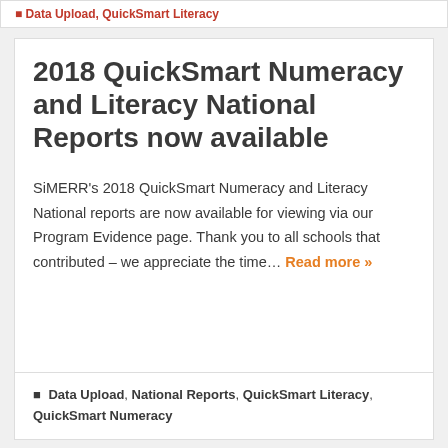Data Upload, QuickSmart Literacy
2018 QuickSmart Numeracy and Literacy National Reports now available
SiMERR's 2018 QuickSmart Numeracy and Literacy National reports are now available for viewing via our Program Evidence page. Thank you to all schools that contributed – we appreciate the time… Read more »
Data Upload, National Reports, QuickSmart Literacy, QuickSmart Numeracy